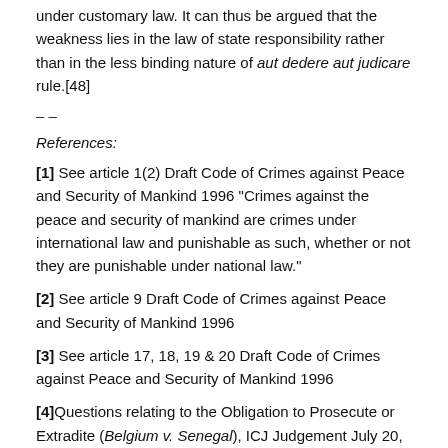under customary law. It can thus be argued that the weakness lies in the law of state responsibility rather than in the less binding nature of aut dedere aut judicare rule.[48]
– –
References:
[1] See article 1(2) Draft Code of Crimes against Peace and Security of Mankind 1996 “Crimes against the peace and security of mankind are crimes under international law and punishable as such, whether or not they are punishable under national law.”
[2] See article 9 Draft Code of Crimes against Peace and Security of Mankind 1996
[3] See article 17, 18, 19 & 20 Draft Code of Crimes against Peace and Security of Mankind 1996
[4]Questions relating to the Obligation to Prosecute or Extradite (Belgium v. Senegal), ICJ Judgement July 20, 2012 at para 68; See also See Neil Boister,“Treaty Crimes, International Criminal Court?